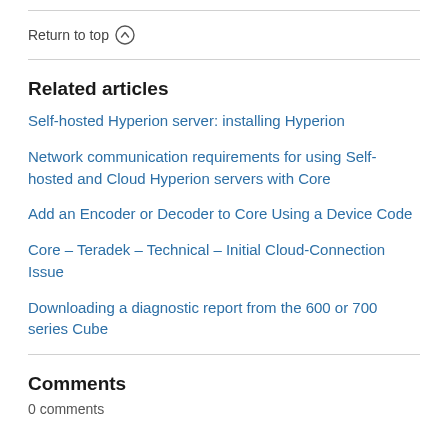Return to top ↑
Related articles
Self-hosted Hyperion server: installing Hyperion
Network communication requirements for using Self-hosted and Cloud Hyperion servers with Core
Add an Encoder or Decoder to Core Using a Device Code
Core – Teradek – Technical – Initial Cloud-Connection Issue
Downloading a diagnostic report from the 600 or 700 series Cube
Comments
0 comments